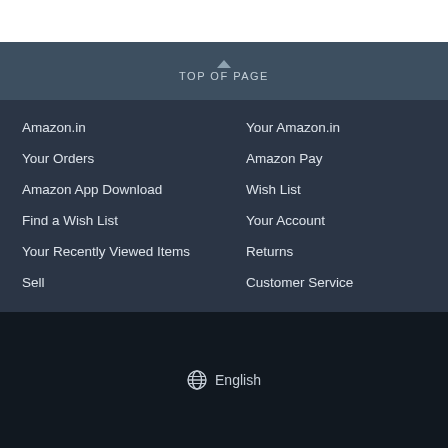TOP OF PAGE
Amazon.in
Your Amazon.in
Your Orders
Amazon Pay
Amazon App Download
Wish List
Find a Wish List
Your Account
Your Recently Viewed Items
Returns
Sell
Customer Service
English